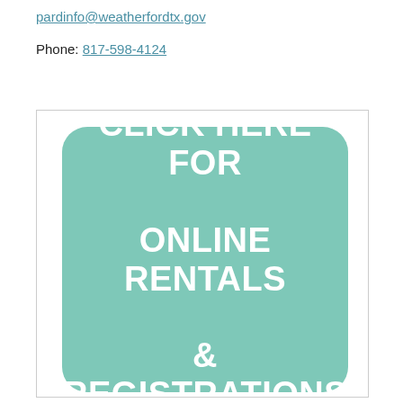pardinfo@weatherfordtx.gov
Phone: 817-598-4124
[Figure (infographic): Teal rounded rectangle button with white bold text reading CLICK HERE FOR ONLINE RENTALS & REGISTRATIONS]